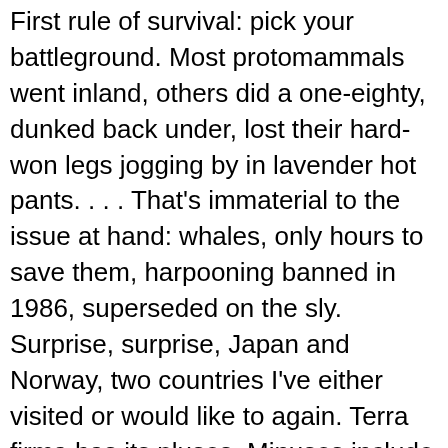First rule of survival: pick your battleground. Most protomammals went inland, others did a one-eighty, dunked back under, lost their hard-won legs jogging by in lavender hot pants. . . . That's immaterial to the issue at hand: whales, only hours to save them, harpooning banned in 1986, superseded on the sly. Surprise, surprise, Japan and Norway, two countries I've either visited or would like to again. Terra firma has its pluses. Minuses include the petrified huddle in wine cellars at Pompeii that Picasso took a pass on as tableau; the thought of the skeleton cupping her toddler's skull could scoop out your heart if you let it. Bunkers, a.k.a. sand traps, are a cinch to hit, they crackle in midday like tinfoil. Iceland's overrun with health nuts despite the literacy rate, my twosome buddy swears that on islands the rehydrating's faddish. A Jeremiah with his irons, more obtuse than acute,